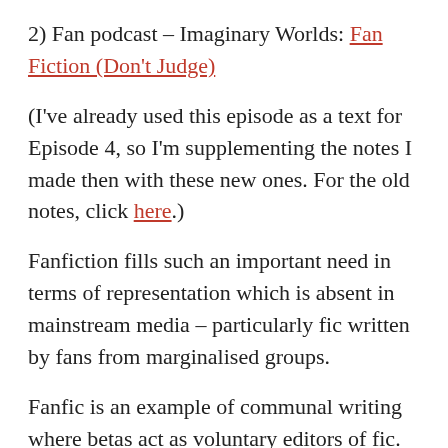2) Fan podcast – Imaginary Worlds: Fan Fiction (Don't Judge)
(I've already used this episode as a text for Episode 4, so I'm supplementing the notes I made then with these new ones. For the old notes, click here.)
Fanfiction fills such an important need in terms of representation which is absent in mainstream media – particularly fic written by fans from marginalised groups.
Fanfic is an example of communal writing where betas act as voluntary editors of fic. There's also implications on the intersections of class, fanfiction and gender. So